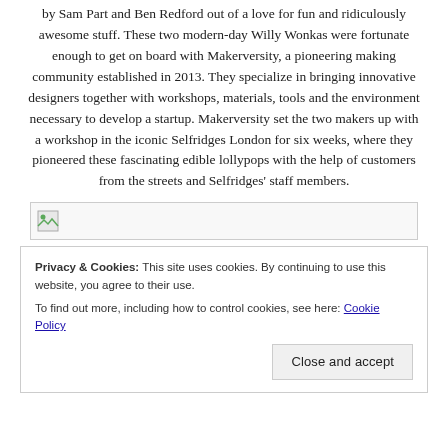by Sam Part and Ben Redford out of a love for fun and ridiculously awesome stuff. These two modern-day Willy Wonkas were fortunate enough to get on board with Makerversity, a pioneering making community established in 2013. They specialize in bringing innovative designers together with workshops, materials, tools and the environment necessary to develop a startup. Makerversity set the two makers up with a workshop in the iconic Selfridges London for six weeks, where they pioneered these fascinating edible lollypops with the help of customers from the streets and Selfridges' staff members.
[Figure (photo): Broken image placeholder icon in a bordered rectangle]
Privacy & Cookies: This site uses cookies. By continuing to use this website, you agree to their use.
To find out more, including how to control cookies, see here: Cookie Policy
Close and accept